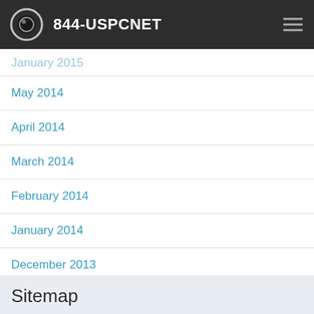844-USPCNET
May 2014
April 2014
March 2014
February 2014
January 2014
December 2013
November 2013
September 2013
Sitemap